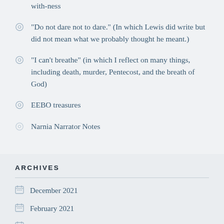with-ness
“Do not dare not to dare.” (In which Lewis did write but did not mean what we probably thought he meant.)
“I can’t breathe” (in which I reflect on many things, including death, murder, Pentecost, and the breath of God)
EEBO treasures
Narnia Narrator Notes
ARCHIVES
December 2021
February 2021
May 2020